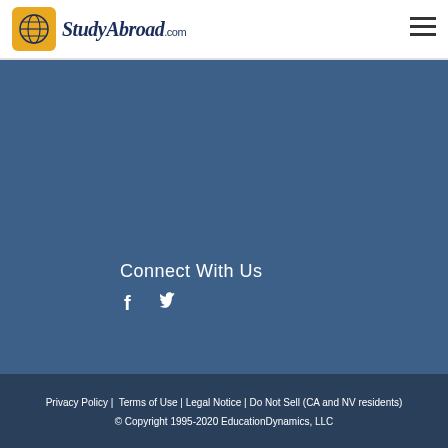[Figure (logo): StudyAbroad.com logo with globe icon in orange/yellow square and stylized text]
Connect With Us
[Figure (illustration): Facebook and Twitter social media icons in white]
Privacy Policy | Terms of Use | Legal Notice | Do Not Sell (CA and NV residents)
© Copyright 1995-2020 EducationDynamics, LLC